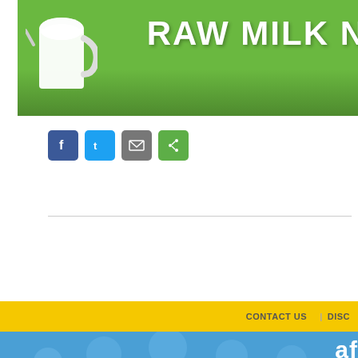[Figure (screenshot): Raw Milk website banner with green grass background, milk pitcher/cup, and bold white text reading RAW MILK (partially cut off)]
[Figure (infographic): Social sharing icons: Facebook (blue), Twitter (blue), Email (gray), Share (green)]
CONTACT US   DISC
[Figure (infographic): Blue banner section with silhouette figures of people and partial text 'af' in white, and red italic quote text beginning with 'I focus toda']
If not no
ThriveForR